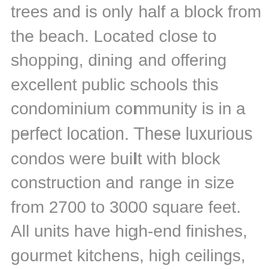trees and is only half a block from the beach. Located close to shopping, dining and offering excellent public schools this condominium community is in a perfect location. These luxurious condos were built with block construction and range in size from 2700 to 3000 square feet. All units have high-end finishes, gourmet kitchens, high ceilings, extensive molding, attached two car garages and private outdoor spaces.